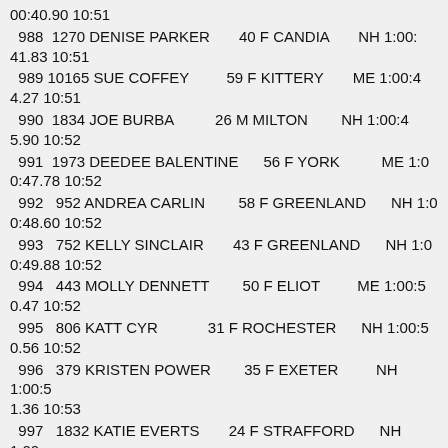00:40.90 10:51
988  1270 DENISE PARKER       40 F CANDIA       NH 1:00:41.83 10:51
989 10165 SUE COFFEY         59 F KITTERY       ME 1:00:44.27 10:51
990  1834 JOE BURBA          26 M MILTON        NH 1:00:45.90 10:52
991  1973 DEEDEE BALENTINE   56 F YORK          ME 1:00:47.78 10:52
992   952 ANDREA CARLIN      58 F GREENLAND     NH 1:00:48.60 10:52
993   752 KELLY SINCLAIR     43 F GREENLAND     NH 1:00:49.88 10:52
994   443 MOLLY DENNETT      50 F ELIOT         ME 1:00:50.47 10:52
995   806 KATT CYR           31 F ROCHESTER     NH 1:00:50.56 10:52
996   379 KRISTEN POWER      35 F EXETER        NH 1:00:51.36 10:53
997  1832 KATIE EVERTS       24 F STRAFFORD     NH 1:00:51.41 10:53
998   213 JEN COOPER         36 F BRENTWOOD     NH 1:0